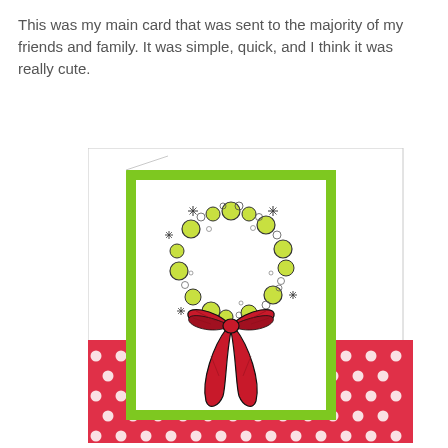This was my main card that was sent to the majority of my friends and family. It was simple, quick, and I think it was really cute.
[Figure (photo): A handmade Christmas card featuring a wreath made of green ornament circles and small stars/snowflakes with a large red bow at the bottom, mounted on a green-bordered white panel, placed over a red and white polka dot patterned strip, all on a white card base.]